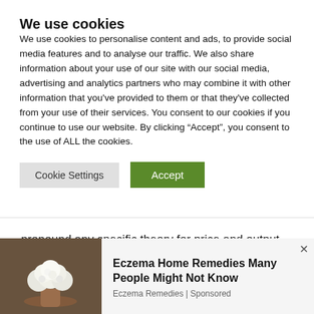We use cookies
We use cookies to personalise content and ads, to provide social media features and to analyse our traffic. We also share information about your use of our site with our social media, advertising and analytics partners who may combine it with other information that you’ve provided to them or that they’ve collected from your use of their services. You consent to our cookies if you continue to use our website. By clicking “Accept”, you consent to the use of ALL the cookies.
Cookie Settings   Accept
propound any specific theory for price and output determination under oligopoly.
In the words of Maurice, “there is no theory of oligopoly
[Figure (photo): Photo of cauliflower or white food on a wooden spoon against a dark background]
Eczema Home Remedies Many People Might Not Know
Eczema Remedies | Sponsored